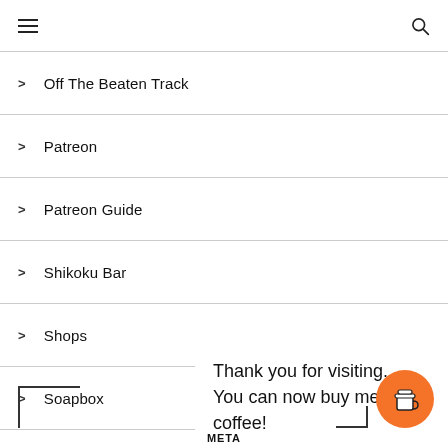Navigation menu header with hamburger icon and search icon
> Off The Beaten Track
> Patreon
> Patreon Guide
> Shikoku Bar
> Shops
> Soapbox
> Source
Thank you for visiting. You can now buy me a coffee!
META